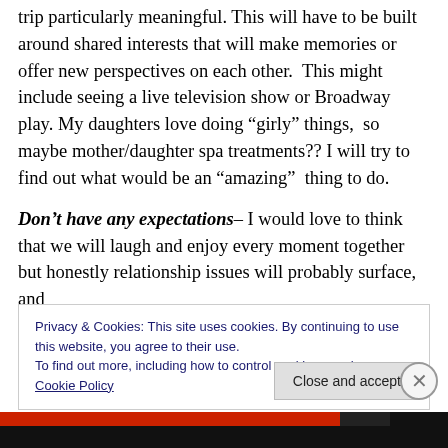trip particularly meaningful. This will have to be built around shared interests that will make memories or offer new perspectives on each other. This might include seeing a live television show or Broadway play. My daughters love doing “girly” things, so maybe mother/daughter spa treatments?? I will try to find out what would be an “amazing” thing to do.
Don’t have any expectations– I would love to think that we will laugh and enjoy every moment together but honestly relationship issues will probably surface, and
Privacy & Cookies: This site uses cookies. By continuing to use this website, you agree to their use.
To find out more, including how to control cookies, see here: Cookie Policy
Close and accept